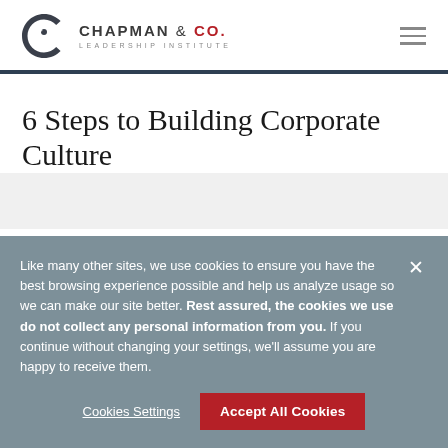[Figure (logo): Chapman & Co. Leadership Institute logo with stylized eye/C icon in dark gray and red]
6 Steps to Building Corporate Culture
Like many other sites, we use cookies to ensure you have the best browsing experience possible and help us analyze usage so we can make our site better. Rest assured, the cookies we use do not collect any personal information from you. If you continue without changing your settings, we'll assume you are happy to receive them.
Cookies Settings
Accept All Cookies